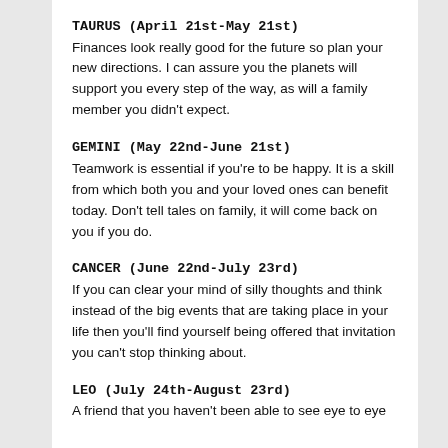TAURUS (April 21st-May 21st)
Finances look really good for the future so plan your new directions. I can assure you the planets will support you every step of the way, as will a family member you didn't expect.
GEMINI (May 22nd-June 21st)
Teamwork is essential if you're to be happy. It is a skill from which both you and your loved ones can benefit today. Don't tell tales on family, it will come back on you if you do.
CANCER (June 22nd-July 23rd)
If you can clear your mind of silly thoughts and think instead of the big events that are taking place in your life then you'll find yourself being offered that invitation you can't stop thinking about.
LEO (July 24th-August 23rd)
A friend that you haven't been able to see eye to eye with...